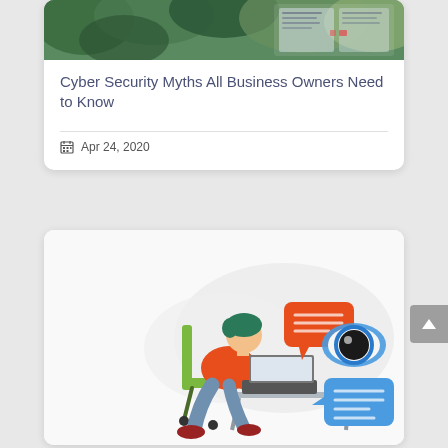[Figure (screenshot): Top portion of a card showing a nature/outdoor background image with green foliage]
Cyber Security Myths All Business Owners Need to Know
Apr 24, 2020
[Figure (illustration): Illustration of a person sitting at a desk using a laptop, with chat/speech bubbles and a large eye icon, representing online communication or surveillance theme]